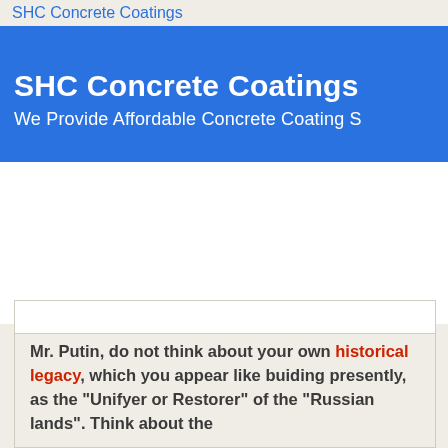SHC Concrete Coatings
SHC Concrete Coatings
We Provide Affordable Concrete Coating S
Mr. Putin, do not think about your own historical legacy, which you appear like buiding presently, as the "Unifyer or Restorer" of the "Russian lands". Think about the